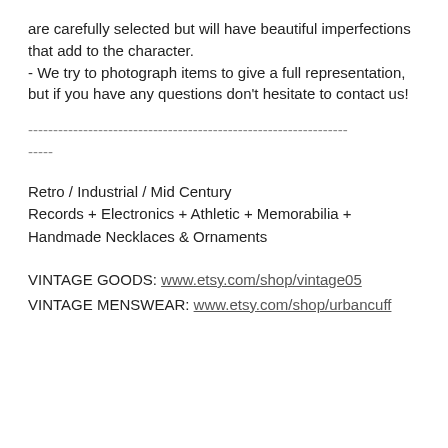are carefully selected but will have beautiful imperfections that add to the character.
- We try to photograph items to give a full representation, but if you have any questions don't hesitate to contact us!
------------------------------------------------------------------------
Retro / Industrial / Mid Century
Records + Electronics + Athletic + Memorabilia +
Handmade Necklaces & Ornaments
VINTAGE GOODS: www.etsy.com/shop/vintage05
VINTAGE MENSWEAR: www.etsy.com/shop/urbancuff